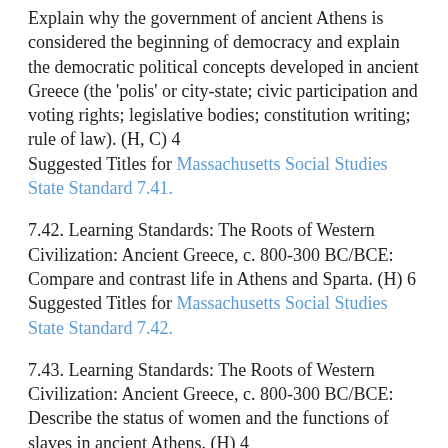Explain why the government of ancient Athens is considered the beginning of democracy and explain the democratic political concepts developed in ancient Greece (the 'polis' or city-state; civic participation and voting rights; legislative bodies; constitution writing; rule of law). (H, C) 4
Suggested Titles for Massachusetts Social Studies State Standard 7.41.
7.42. Learning Standards: The Roots of Western Civilization: Ancient Greece, c. 800-300 BC/BCE: Compare and contrast life in Athens and Sparta. (H) 6
Suggested Titles for Massachusetts Social Studies State Standard 7.42.
7.43. Learning Standards: The Roots of Western Civilization: Ancient Greece, c. 800-300 BC/BCE: Describe the status of women and the functions of slaves in ancient Athens. (H) 4